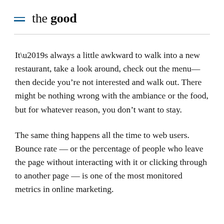the good
It’s always a little awkward to walk into a new restaurant, take a look around, check out the menu—then decide you’re not interested and walk out. There might be nothing wrong with the ambiance or the food, but for whatever reason, you don’t want to stay.
The same thing happens all the time to web users. Bounce rate — or the percentage of people who leave the page without interacting with it or clicking through to another page — is one of the most monitored metrics in online marketing.